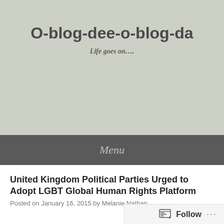O-blog-dee-o-blog-da
Life goes on....
Menu
United Kingdom Political Parties Urged to Adopt LGBT Global Human Rights Platform
Posted on January 16, 2015 by Melanie Nathan